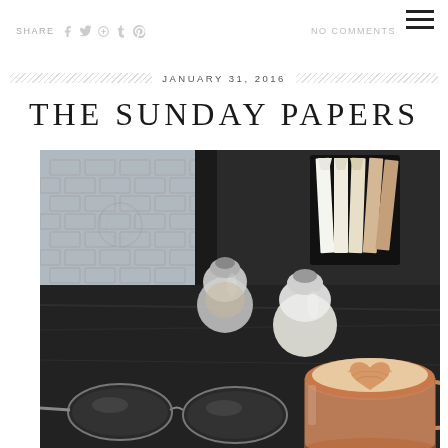SHARE  NO COMMENTS
JANUARY 31, 2016
THE SUNDAY PAPERS
[Figure (photo): Overhead view of a cafe table with a latte art coffee in a glass mug, salt and pepper shakers, a black holder with sugar packets, and sunglasses on a dark wooden table with tiled floor visible through a window in the background.]